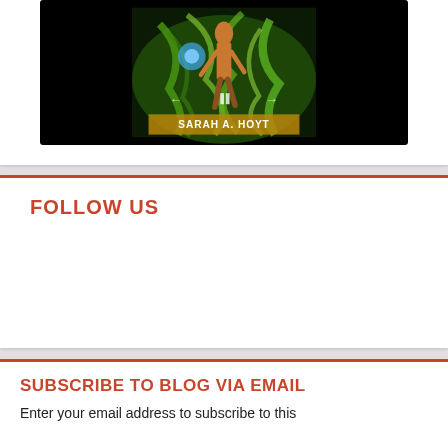[Figure (illustration): Book cover image showing a fantasy scene with a female figure surrounded by swirling green and dark tendrils, with the author name 'SARAH A. HOYT' displayed at the bottom. The image is shown on a dark/black background resembling a tablet or e-reader device.]
FOLLOW US
SUBSCRIBE TO BLOG VIA EMAIL
Enter your email address to subscribe to this